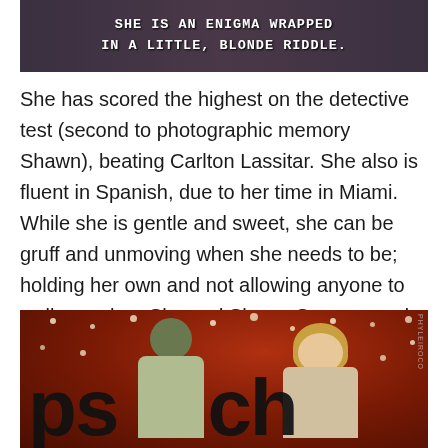[Figure (screenshot): A dark scene with two people, overlaid with white text reading 'SHE IS AN ENIGMA WRAPPED IN A LITTLE, BLONDE RIDDLE.' in monospace font]
She has scored the highest on the detective test (second to photographic memory Shawn), beating Carlton Lassitar. She also is fluent in Spanish, due to her time in Miami. While she is gentle and sweet, she can be gruff and unmoving when she needs to be; holding her own and not allowing anyone to walk over her. She and Shawn Spencer end up getting together and her stability and his goofiness work well together.
[Figure (photo): A man and woman laughing/smiling at a festive event with red background and bokeh lights. Large dark letters partially visible at bottom spelling 'psych' (TV show logo style).]